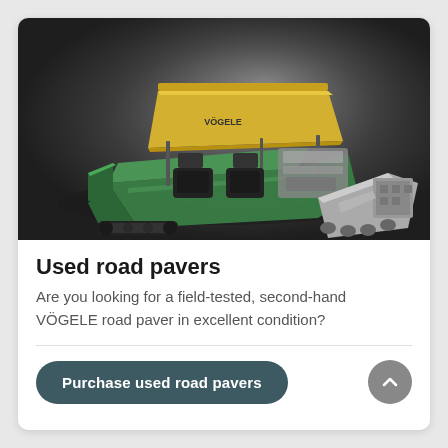[Figure (photo): A VÖGELE road paver machine photographed from above at an angle, showing a yellow canopy/sunshade on top, green body, and silver/metallic screed attachment at the rear, set against a dark asphalt surface.]
Used road pavers
Are you looking for a field-tested, second-hand VÖGELE road paver in excellent condition?
Purchase used road pavers